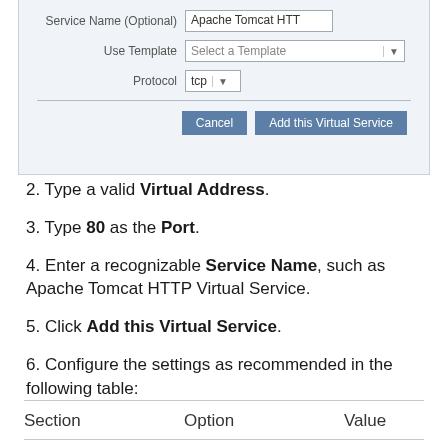[Figure (screenshot): Form screenshot showing Service Name (Optional) field with 'Apache Tomcat HTT', Use Template dropdown with 'Select a Template', Protocol dropdown with 'tcp', and Cancel / Add this Virtual Service buttons.]
2. Type a valid Virtual Address.
3. Type 80 as the Port.
4. Enter a recognizable Service Name, such as Apache Tomcat HTTP Virtual Service.
5. Click Add this Virtual Service.
6. Configure the settings as recommended in the following table:
| Section | Option | Value |
| --- | --- | --- |